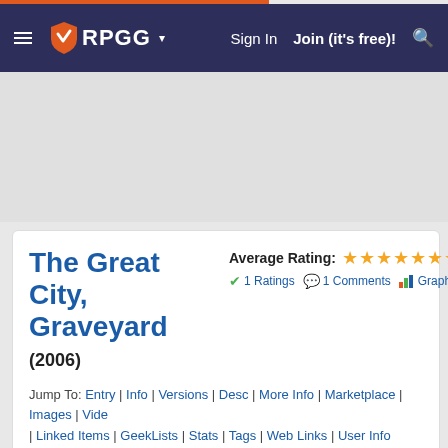RPGG navigation header with Sign In and Join (it's free)! links
The Great City, Graveyard (2006)
Average Rating: 8.00/10 | 1 Ratings | 1 Comments | Graph
Jump To: Entry | Info | Versions | Desc | More Info | Marketplace | Images | Vide | Linked Items | GeekLists | Stats | Tags | Web Links | User Info
Information
[Figure (illustration): Book cover for 6Gnc's Blueprints The Great City Graveyard showing blueprint-style map on blue background]
|  |  |
| --- | --- |
| RPG | Generic / Universal |
| Genre | Fantasy |
| Setting | The Great City |
|  | d20 System |
Fans: 0
Become Fan
Correct